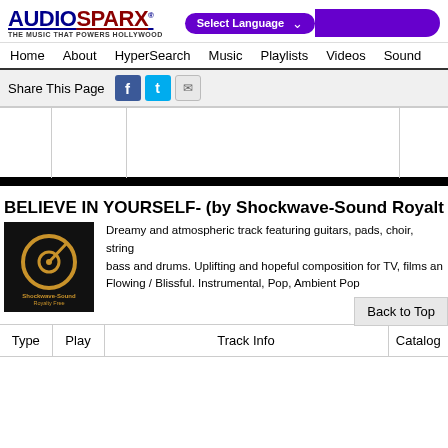AUDIOSPARX - THE MUSIC THAT POWERS HOLLYWOOD
Home  About  HyperSearch  Music  Playlists  Videos  Sound
Share This Page
[Figure (screenshot): Media player area with bordered cells and black bar]
BELIEVE IN YOURSELF - (by Shockwave-Sound Royalt
[Figure (logo): Shockwave-Sound Royalty Free logo - gold circular icon on black background]
Dreamy and atmospheric track featuring guitars, pads, choir, strings, bass and drums. Uplifting and hopeful composition for TV, films and Flowing / Blissful. Instrumental, Pop, Ambient Pop
Back to Top
| Type | Play | Track Info | Catalog |
| --- | --- | --- | --- |